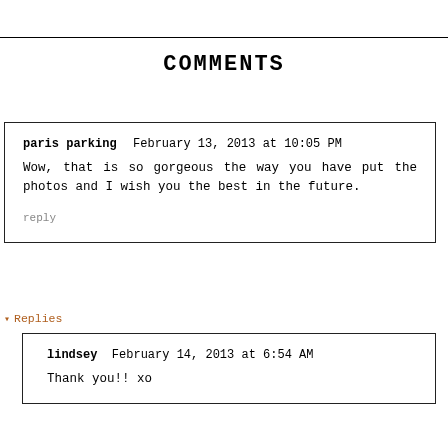COMMENTS
paris parking  February 13, 2013 at 10:05 PM
Wow, that is so gorgeous the way you have put the photos and I wish you the best in the future.
reply
▾ Replies
lindsey  February 14, 2013 at 6:54 AM
Thank you!! xo